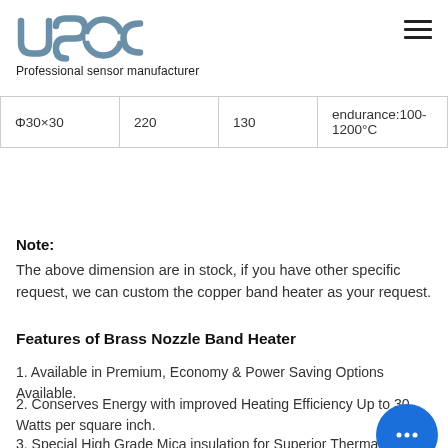USEC - Professional sensor manufacturer
| Φ30×30 | 220 | 130 | endurance:100-1200°C |
Note:
The above dimension are in stock, if you have other specific request, we can custom the copper band heater as your request.
Features of Brass Nozzle Band Heater
1. Available in Premium, Economy & Power Saving Options Available.
2. Conserves Energy with improved Heating Efficiency Up to 30 Watts per square inch.
3. Special High Grade Mica insulation for Superior Thermal Conductivity and die electric strength.